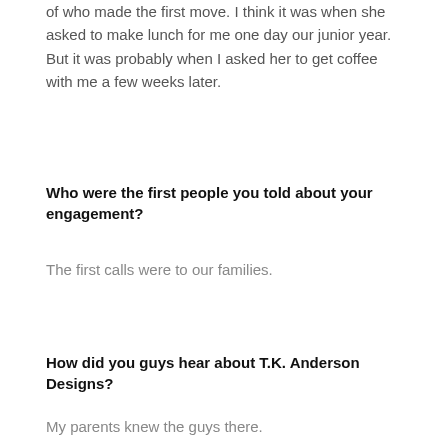of who made the first move. I think it was when she asked to make lunch for me one day our junior year. But it was probably when I asked her to get coffee with me a few weeks later.
Who were the first people you told about your engagement?
The first calls were to our families.
How did you guys hear about T.K. Anderson Designs?
My parents knew the guys there.